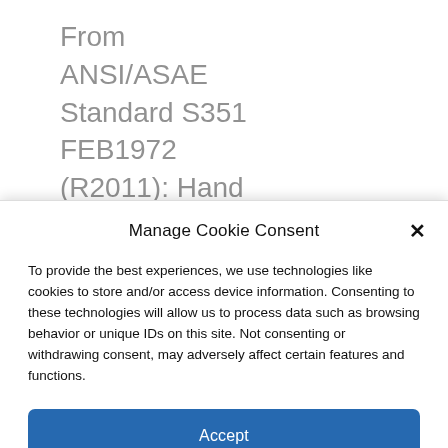From ANSI/ASAE Standard S351 FEB1972 (R2011): Hand signals for use in agriculture.
Manage Cookie Consent
To provide the best experiences, we use technologies like cookies to store and/or access device information. Consenting to these technologies will allow us to process data such as browsing behavior or unique IDs on this site. Not consenting or withdrawing consent, may adversely affect certain features and functions.
Accept
Cookie Policy  Privacy Statement